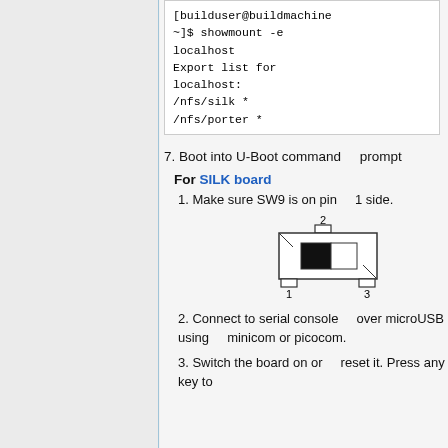[builduser@buildmachine ~]$ showmount -e localhost
Export list for localhost:
/nfs/silk *
/nfs/porter *
7. Boot into U-Boot command prompt
For SILK board
1. Make sure SW9 is on pin 1 side.
[Figure (schematic): Switch SW9 diagram showing positions 1, 2, and 3 with slider on pin 1 side]
2. Connect to serial console over microUSB using minicom or picocom.
3. Switch the board on or reset it. Press any key to